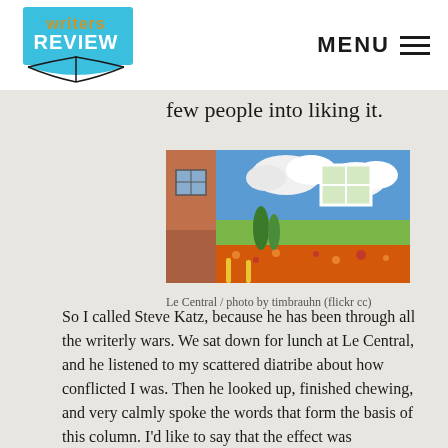Writers Review | MENU
tog… few people into liking it.
[Figure (photo): Photo of a colorful mural painted on the side of a building, depicting a landscape with blue sky, clouds, green trees, and red/orange flowers. Yellow bollards visible in foreground.]
Le Central / photo by timbrauhn (flickr cc)
So I called Steve Katz, because he has been through all the writerly wars. We sat down for lunch at Le Central, and he listened to my scattered diatribe about how conflicted I was. Then he looked up, finished chewing, and very calmly spoke the words that form the basis of this column. I'd like to say that the effect was